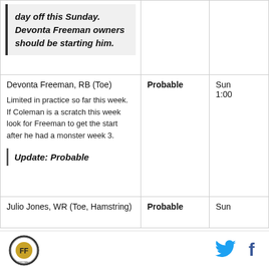| Player | Status | Time |
| --- | --- | --- |
| day off this Sunday. Devonta Freeman owners should be starting him. |  |  |
| Devonta Freeman, RB (Toe)
Limited in practice so far this week. If Coleman is a scratch this week look for Freeman to get the start after he had a monster week 3.
Update: Probable | Probable | Sun 1:00 |
| Julio Jones, WR (Toe, Hamstring) | Probable | Sun 1:00 |
[Figure (logo): Fantasy football site logo, circular emblem]
[Figure (other): Twitter bird icon in cyan]
[Figure (other): Facebook f icon in dark blue]